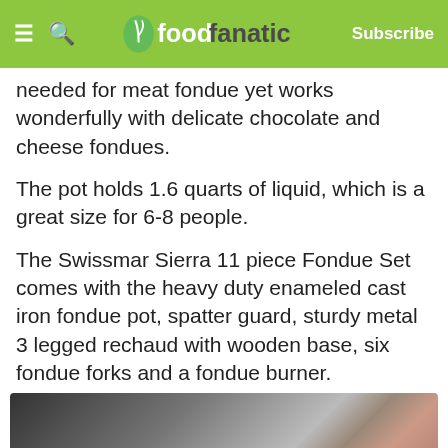foodfanatic — Subscribe
needed for meat fondue yet works wonderfully with delicate chocolate and cheese fondues.
The pot holds 1.6 quarts of liquid, which is a great size for 6-8 people.
The Swissmar Sierra 11 piece Fondue Set comes with the heavy duty enameled cast iron fondue pot, spatter guard, sturdy metal 3 legged rechaud with wooden base, six fondue forks and a fondue burner.
The fondue pot set comes in several colors, and the cherry red that I have is gorgeous and perfect for the holidays.
[Figure (photo): Bottom portion of a food photograph, partially visible]